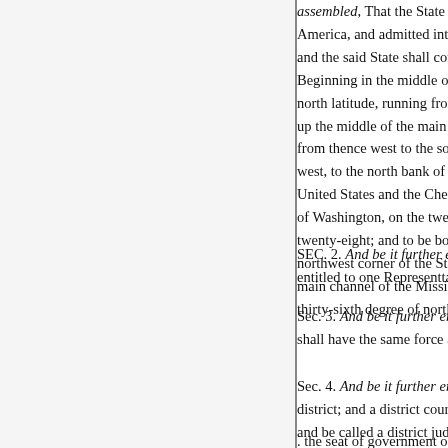assembled, That the State of Arkansas is hereby declared to be one of the United States of America, and admitted into the Union on an equal footing with the original States in all respects whatever; and the said State shall consist of all the territory included within the following boundaries, to wit: Beginning in the middle of the main channel of the Mississippi River, on the line of thirty-six degrees of north latitude, running from thence west with said line to the St. Francis River; thence up the middle of the main channel of the St. Francis River to the Missouri line; from thence west to the southwest corner of the State of Missouri; and from thence along said west boundary of Missouri west, to the north bank of Red River; thence down and along the north bank of Red River, on the line of the treaty between the United States and the Cherokee Indians, made and concluded at the city of Washington, on the twenty-sixth day of February, eighteen hundred and twenty-eight; and to be bounded: on the north by the State of Missouri; on the east by the northwest corner of the State of Tennessee, and a line drawn due north therefrom to the main channel of the Mississippi River; and along the main channel of the Mississippi River to the place of beginning; on the south by the thirty-sixth degree of north latitude.
SEC. 2. And be it further enacted, That until the next census and apportionment, the said State shall be entitled to one Representtative in the House of Representatives of the United States.
Sec. 3. And be it further enacted, That all laws of the United States, not locally inapplicable, shall have the same force and effect within the said State of Arkansas as elsewhere within the United States.
Sec. 4. And be it further enacted, That the said State of Arkansas shall be one judicial district; and a district court shall be held therein, to consist of one judge, who shall reside therein, and be called a district judge. He shall hold, at the seat of government of the said State...
. the seat of government of th